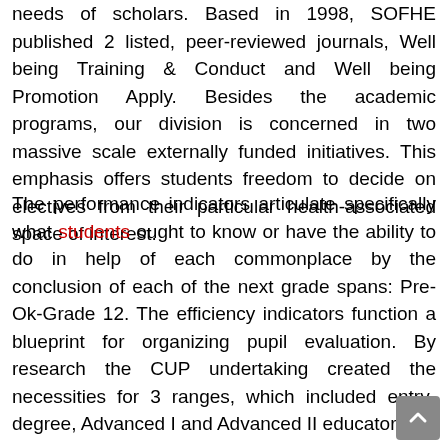needs of scholars. Based in 1998, SOFHE published 2 listed, peer-reviewed journals, Well being Training & Conduct and Well being Promotion Apply. Besides the academic programs, our division is concerned in two massive scale externally funded initiatives. This emphasis offers students freedom to decide on electives from their particular health-associated space of interest.
The performance indicators articulate specifically what students ought to know or have the ability to do in help of each commonplace by the conclusion of each of the next grade spans: Pre-Ok-Grade 12. The efficiency indicators function a blueprint for organizing pupil evaluation. By research the CUP undertaking created the necessities for 3 ranges, which included entry-degree, Advanced I and Advanced II educators.